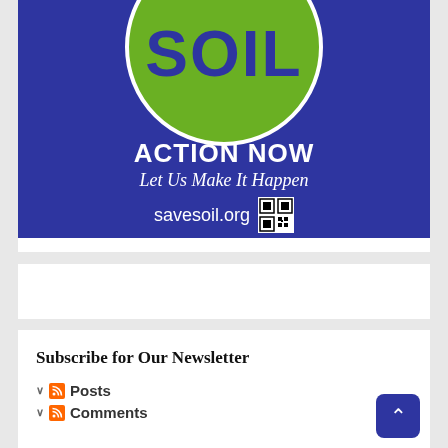[Figure (illustration): Save Soil campaign banner with blue background. A green circle contains the word SOIL in large bold dark blue letters. Below reads ACTION NOW in white bold text, then italic text Let Us Make It Happen, then savesoil.org with a QR code, all in white on blue background.]
Subscribe for Our Newsletter
Posts
Comments